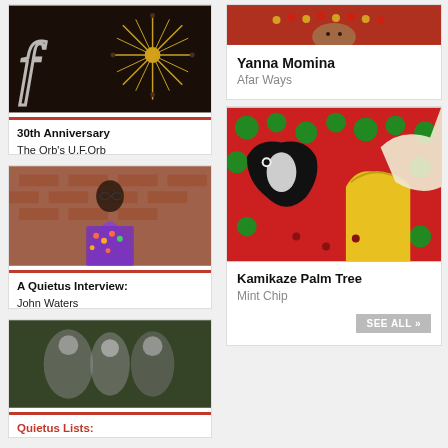[Figure (photo): Dark photo with starburst/sputnik lamp decoration, neon letters visible - 30th Anniversary The Orb's U.F.Orb article thumbnail]
30th Anniversary
The Orb's U.F.Orb
[Figure (photo): Man in colorful floral blazer with sunglasses, brick wall background - A Quietus Interview: John Waters]
A Quietus Interview:
John Waters
[Figure (photo): Vintage black and white photo of people - Quietus Lists article thumbnail]
[Figure (photo): Close-up portrait photo of Yanna Momina with red/gold beaded headdress]
Yanna Momina
Afar Ways
[Figure (illustration): Colorful pop-art style painting with black and white cat, red and green strawberry pattern, yellow vase - Kamikaze Palm Tree Mint Chip]
Kamikaze Palm Tree
Mint Chip
SEE ALL »